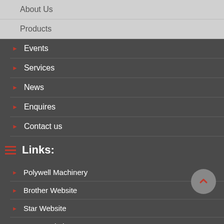About Us
Products
Events
Services
News
Enquires
Contact us
Links:
Polywell Machinery
Brother Website
Star Website
GOM Website
HP 3D Printing Website
Grandlead Intelligent Systems
Automation Website